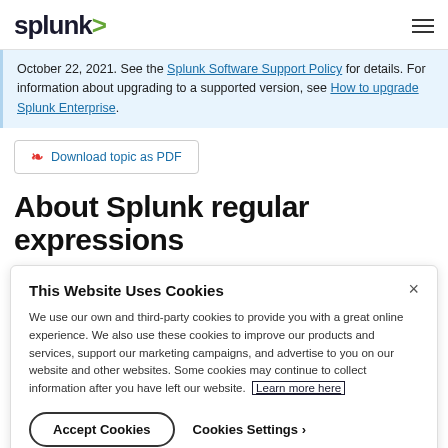splunk> ☰
October 22, 2021. See the Splunk Software Support Policy for details. For information about upgrading to a supported version, see How to upgrade Splunk Enterprise.
Download topic as PDF
About Splunk regular expressions
This primer helps you create valid regular expressions. For a
This Website Uses Cookies
We use our own and third-party cookies to provide you with a great online experience. We also use these cookies to improve our products and services, support our marketing campaigns, and advertise to you on our website and other websites. Some cookies may continue to collect information after you have left our website. Learn more here
Accept Cookies   Cookies Settings ›